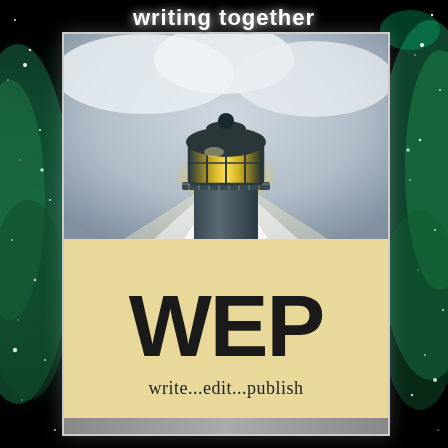writing together
[Figure (illustration): WEP (Write Edit Publish) promotional graphic. Dark starfield/nebula background in teal and black. Central card showing a lighthouse with glowing yellow light beam at top, and below a beige parchment area with large bold letters WEP and tagline 'write...edit...publish'.]
WEP
write...edit...publish